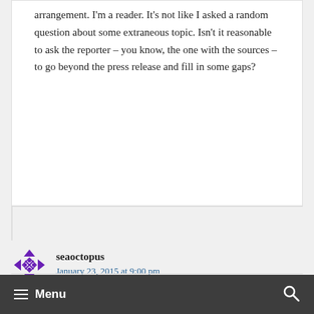arrangement. I'm a reader. It's not like I asked a random question about some extraneous topic. Isn't it reasonable to ask the reporter – you know, the one with the sources – to go beyond the press release and fill in some gaps?
seaoctopus
January 23, 2015 at 9:00 pm
≡ Menu